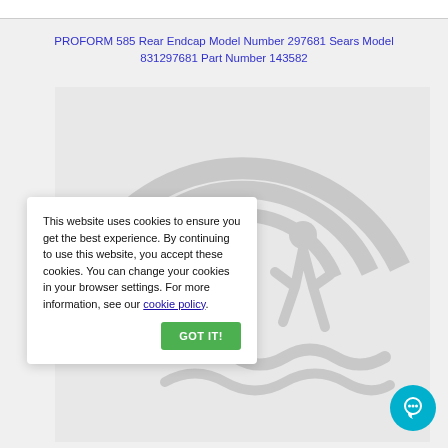PROFORM 585 Rear Endcap Model Number 297681 Sears Model 831297681 Part Number 143582
[Figure (logo): ProForm fitness equipment watermark logo — curved arc lines and a silhouette of a running person with wavy lines below, rendered in light gray on a light gray background]
This website uses cookies to ensure you get the best experience. By continuing to use this website, you accept these cookies. You can change your cookies in your browser settings. For more information, see our cookie policy.